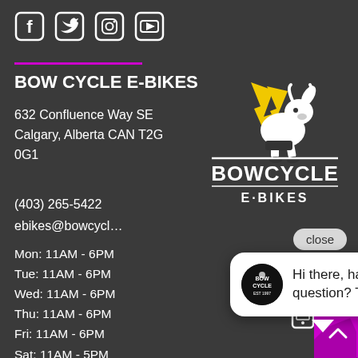[Figure (illustration): Social media icons: Facebook, Twitter, Instagram, YouTube — white icons on dark background]
BOW CYCLE E-BIKES
632 Confluence Way SE
Calgary, Alberta CAN T2G 0G1
(403) 265-5422
ebikes@bowcycl...
Mon: 11AM - 6PM
Tue: 11AM - 6PM
Wed: 11AM - 6PM
Thu: 11AM - 6PM
Fri: 11AM - 6PM
Sat: 11AM - 5PM
Sun: 11AM - 5PM
[Figure (logo): Bow Cycle E-Bikes logo: cartoon bison/buffalo character with lightning bolts, BOWCYCLE text, E-BIKES subtext]
close
[Figure (illustration): Chat popup bubble with Bowcycle avatar and text: Hi there, have a question? Text us here.]
[Figure (illustration): Phone/mobile icon and magenta boot icon at bottom right]